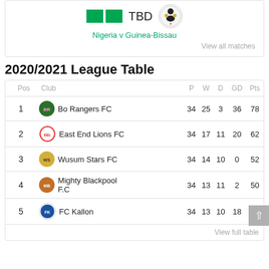TBD
Nigeria v Guinea-Bissau
View all matches
2020/2021 League Table
| Pos | Club | P | W | D | GD | Pts |
| --- | --- | --- | --- | --- | --- | --- |
| 1 | Bo Rangers FC | 34 | 25 | 3 | 36 | 78 |
| 2 | East End Lions FC | 34 | 17 | 11 | 20 | 62 |
| 3 | Wusum Stars FC | 34 | 14 | 10 | 0 | 52 |
| 4 | Mighty Blackpool F.C | 34 | 13 | 11 | 2 | 50 |
| 5 | FC Kallon | 34 | 13 | 10 | 18 | 49 |
View full table